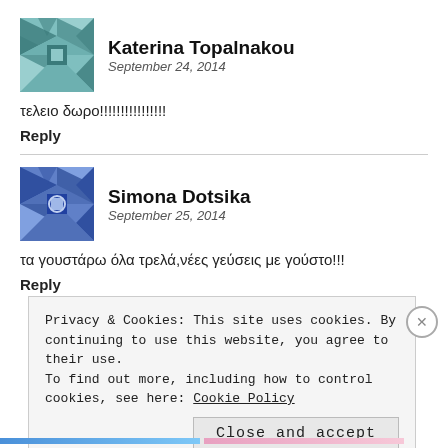[Figure (illustration): Geometric quilt-pattern avatar icon for Katerina Topalnakou, teal/blue pattern]
Katerina Topalnakou
September 24, 2014
τελειο δωρο!!!!!!!!!!!!!!!!
Reply
[Figure (illustration): Geometric quilt-pattern avatar icon for Simona Dotsika, blue pattern]
Simona Dotsika
September 25, 2014
τα γουστάρω όλα τρελά,νέες γεύσεις με γούστο!!!
Reply
Privacy & Cookies: This site uses cookies. By continuing to use this website, you agree to their use.
To find out more, including how to control cookies, see here: Cookie Policy
Close and accept